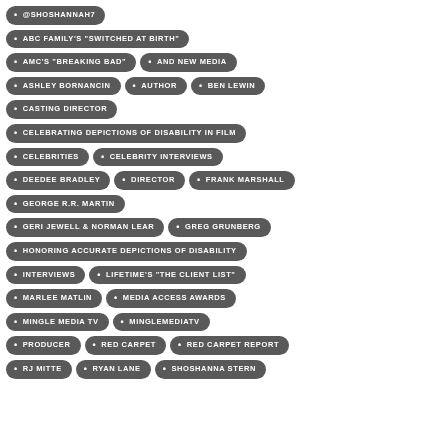@SHOSHANNAH7
ABC FAMILY'S "SWITCHED AT BIRTH"
AMC'S "BREAKING BAD"
AND NEW MEDIA
ASHLEY BORNANCIN
AUTHOR
BEN LEWIN
CASTING DIRECTOR
CELEBRATING DEPICTIONS OF DISABILITY IN FILM
CELEBRITIES
CELEBRITY INTERVIEWS
DEEDEE BRADLEY
DIRECTOR
FRANK MARSHALL
GEORGE R.R. MARTIN
GERI JEWELL & NORMAN LEAR
GREG GRUNBERG
HONORING ACCURATE DEPICTIONS OF DISABILITY
INTERVIEWS
LIFETIME'S "THE CLIENT LIST"
MARLEE MATLIN
MEDIA ACCESS AWARDS
MINGLE MEDIA TV
MINGLEMEDIATV
PRODUCER
RED CARPET
RED CARPET REPORT
RJ MITTE
RYAN LANE
SHOSHANNA STERN